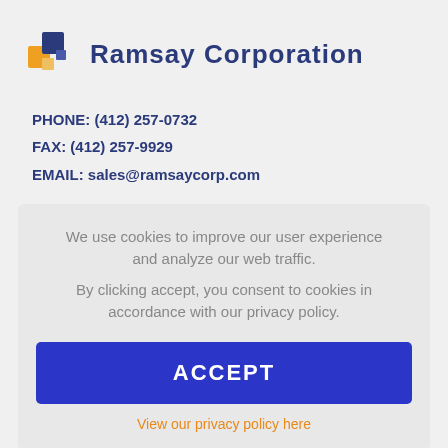[Figure (logo): Ramsay Corporation logo with orange and blue square pixel blocks and the text 'Ramsay Corporation']
PHONE: (412) 257-0732
FAX: (412) 257-9929
EMAIL: sales@ramsaycorp.com
We use cookies to improve our user experience and analyze our web traffic.
By clicking accept, you consent to cookies in accordance with our privacy policy.
ACCEPT
View our privacy policy here